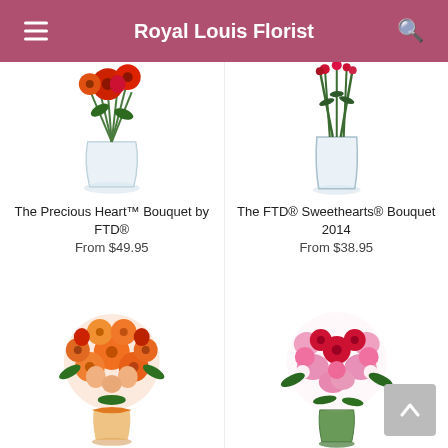Royal Louis Florist
[Figure (photo): Bouquet of red gerberas and red flowers in a clear glass vase - top portion visible]
[Figure (photo): Green stems in a clear glass vase - top portion visible]
The Precious Heart™ Bouquet by FTD®
From $49.95
The FTD® Sweethearts® Bouquet 2014
From $38.95
[Figure (photo): Orange and red mixed flower bouquet with orange ribbon in a vase]
[Figure (photo): Pink and red flower bouquet with roses and alstroemeria in a green vase]